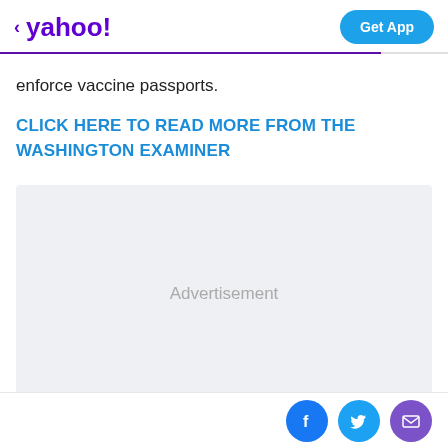yahoo! Get App
enforce vaccine passports.
CLICK HERE TO READ MORE FROM THE WASHINGTON EXAMINER
[Figure (other): Advertisement placeholder box with light gray background and the word 'Advertisement' centered in gray text]
[Figure (other): Social media share icons: Facebook (blue circle with 'f'), Twitter (light blue circle with bird), and Email (purple circle with envelope), displayed at bottom right]